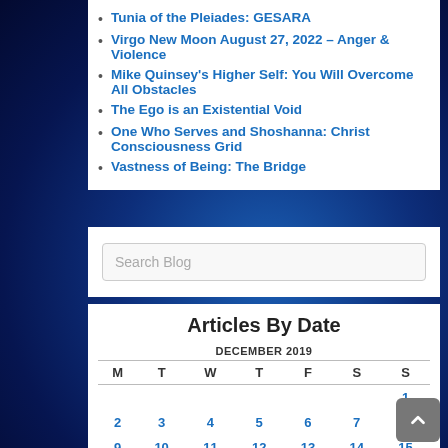Tunia of the Pleiades: GESARA
Virgo New Moon August 27, 2022 – Anger & Violence
Mike Quinsey's Higher Self: You Will Overcome All Obstacles
The Ego is an Existential Void
One Who Serves and Shoshanna: Christ Consciousness Grid
Vastness of Being: The Bridge
Search Blog
Articles By Date
| M | T | W | T | F | S | S |
| --- | --- | --- | --- | --- | --- | --- |
|  |  |  |  |  |  | 1 |
| 2 | 3 | 4 | 5 | 6 | 7 | 8 |
| 9 | 10 | 11 | 12 | 13 | 14 | 15 |